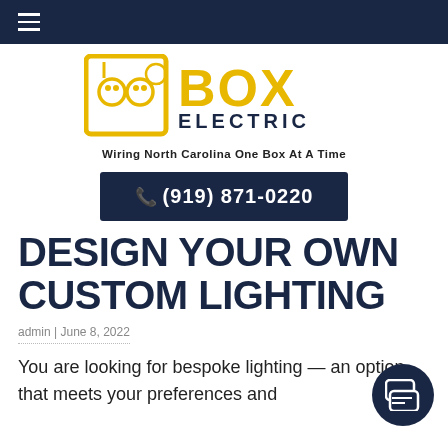Navigation bar with hamburger menu
[Figure (logo): Box Electric logo with yellow electrical box icon and bold yellow/navy text reading BOX ELECTRIC]
Wiring North Carolina One Box At A Time
(919) 871-0220
DESIGN YOUR OWN CUSTOM LIGHTING
admin | June 8, 2022
You are looking for bespoke lighting — an option that meets your preferences and